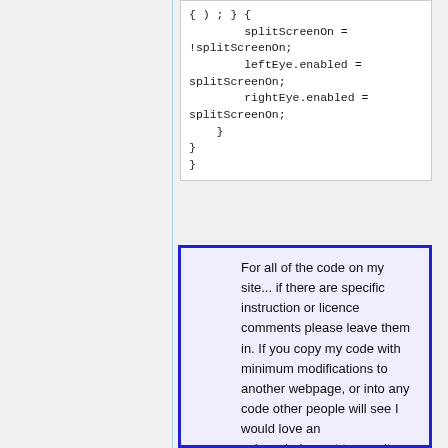{ ) ; } {
        splitScreenOn =
!splitScreenOn;
        leftEye.enabled =
splitScreenOn;
        rightEye.enabled =
splitScreenOn;
    }
}
}
For all of the code on my site... if there are specific instruction or licence comments please leave them in. If you copy my code with minimum modifications to another webpage, or into any code other people will see I would love an acknowledgment to my site.... otherwise, the license for this code is more-or-less